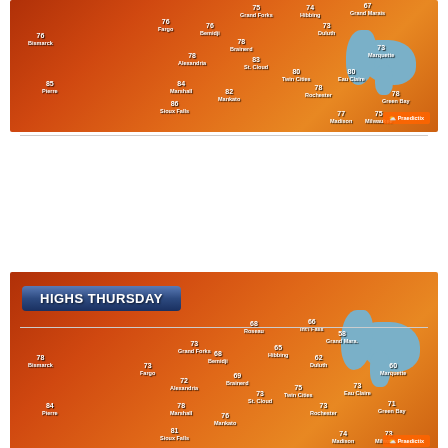[Figure (map): Weather map showing high temperatures across the Upper Midwest including Minnesota, Wisconsin, North Dakota, South Dakota. Cities and temperatures visible: Bismarck 76, Fargo 76, Grand Forks 75, Bemidji 76, Hibbing 74, Grand Marais 67, Duluth 73, Brainerd 78, Alexandria 78, St. Cloud 83, Twin Cities 80, Eau Claire 80, Rochester 78, Marshall 84, Mankato 82, Sioux Falls 86, Pierre 85, Madison 77, Milwaukee 75, Green Bay 78, Marquette 73. Sunny conditions shown with sun icons. Praedictix branding in lower right.]
[Figure (map): Weather map labeled 'HIGHS THURSDAY' showing forecast high temperatures across the Upper Midwest. Cities and temperatures: Bismarck 78, Pierre 84, Fargo 73, Grand Forks 73, Roseau 68, Int'l Falls 66, Bemidji 68, Hibbing 65, Grand Marais 58, Duluth 62, Alexandria 72, Brainerd 69, St. Cloud 73, Twin Cities 75, Eau Claire 73, Rochester 73, Marshall 78, Mankato 76, Sioux Falls 81, Madison 74, Milwaukee 73, Green Bay 71, Marquette 60. Praedictix branding.]
[Figure (map): Weather map labeled 'HIGHS FRIDAY' showing forecast high temperatures. Partially visible. Roseau 75, Int'l Falls 73 visible at bottom. City of 77 visible.]